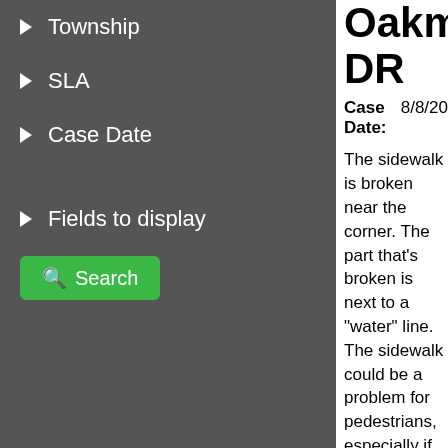Township
SLA
Case Date
Fields to display
Oakmont DR
Case Date: 8/8/20
The sidewalk is broken near the corner. The part that's broken is next to a "water" line. The sidewalk could be a problem for pedestrians, especially if they may have a visual disability or be